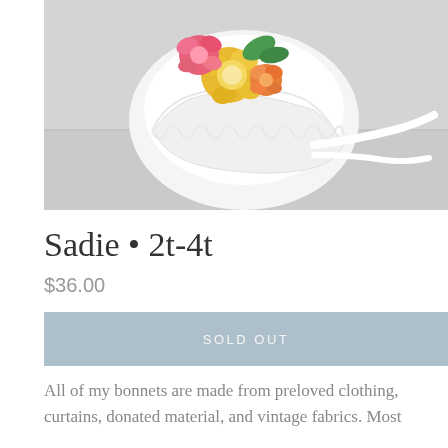[Figure (photo): A white baby/toddler bonnet with colorful fabric flowers (pink, yellow, orange, green) on top, with white ribbon ties, photographed on a light gray surface.]
Sadie • 2t-4t
$36.00
SOLD OUT
All of my bonnets are made from preloved clothing, curtains, donated material, and vintage fabrics. Most